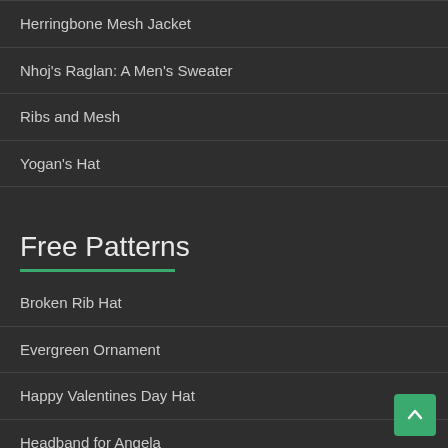Herringbone Mesh Jacket
Nhoj's Raglan: A Men's Sweater
Ribs and Mesh
Yogan's Hat
Free Patterns
Broken Rib Hat
Evergreen Ornament
Happy Valentines Day Hat
Headband for Angela
Hermione's Tie
Mini Blanket Pattern
Quick Kerchief